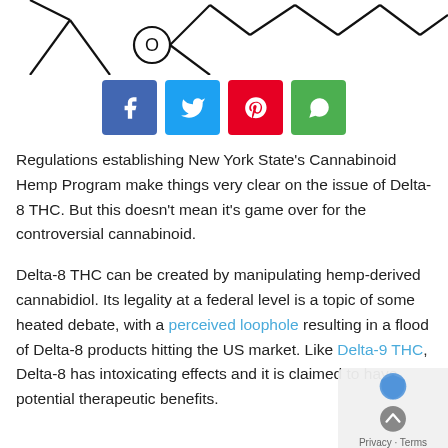[Figure (illustration): Partial chemical structure diagram of a molecule (likely Delta-8 THC) showing skeletal formula with hexagonal ring structures and lines, cropped at top]
[Figure (infographic): Social media sharing buttons: Facebook (blue), Twitter (light blue), Pinterest (red), WhatsApp (green)]
Regulations establishing New York State's Cannabinoid Hemp Program make things very clear on the issue of Delta-8 THC. But this doesn't mean it's game over for the controversial cannabinoid.
Delta-8 THC can be created by manipulating hemp-derived cannabidiol. Its legality at a federal level is a topic of some heated debate, with a perceived loophole resulting in a flood of Delta-8 products hitting the US market. Like Delta-9 THC, Delta-8 has intoxicating effects and it is claimed to have potential therapeutic benefits.